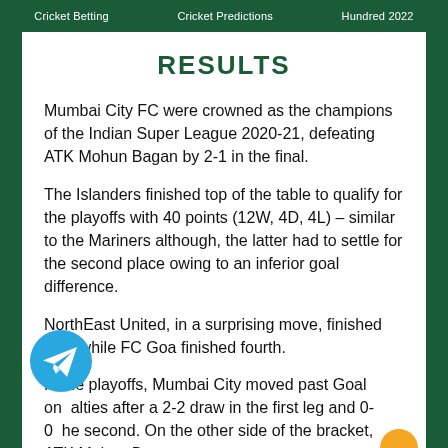Cricket Betting   Cricket Predictions   Hundred 2022
RESULTS
Mumbai City FC were crowned as the champions of the Indian Super League 2020-21, defeating ATK Mohun Bagan by 2-1 in the final.
The Islanders finished top of the table to qualify for the playoffs with 40 points (12W, 4D, 4L) – similar to the Mariners although, the latter had to settle for the second place owing to an inferior goal difference.
NorthEast United, in a surprising move, finished third while FC Goa finished fourth.
In the playoffs, Mumbai City moved past Goal on alties after a 2-2 draw in the first leg and 0-0 he second. On the other side of the bracket, ATK Mohun Bagan...